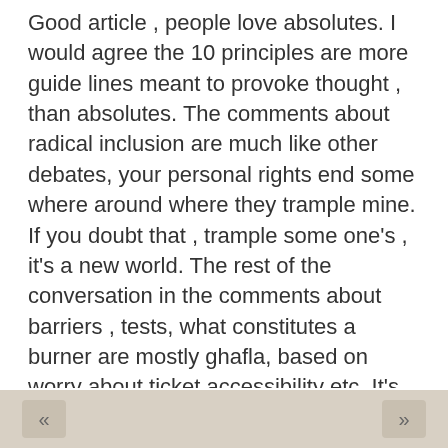Good article , people love absolutes. I would agree the 10 principles are more guide lines meant to provoke thought , than absolutes. The comments about radical inclusion are much like other debates, your personal rights end some where around where they trample mine. If you doubt that , trample some one's , it's a new world. The rest of the conversation in the comments about barriers , tests, what constitutes a burner are mostly ghafla, based on worry about ticket accessibility etc. It's not a cool kids club, or should not be in my personal experience . I think there is a mathematical equation for upset about any kind of ticket issues at most events. The level of outrage at being denied tickets is in direct proportion to your level of entitlement. Bring on the newbies , bring on the chaos . The new rule for Burn events , should not be safety 3rd , but liability 3rd , cause as they get successful they try to limit risk ich is really a huge part of the draw and limits